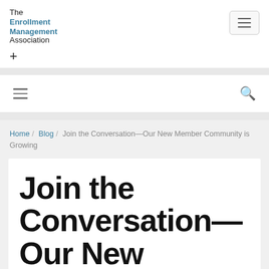The Enrollment Management Association
Home / Blog / Join the Conversation—Our New Member Community is Growing
Join the Conversation—Our New